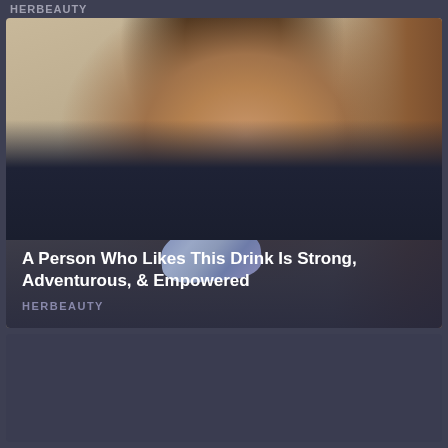HERBEAUTY
[Figure (photo): Woman wearing dark uniform with blue/grey neck scarf, photographed in what appears to be an airplane cabin interior with wooden panel walls and beige background]
A Person Who Likes This Drink Is Strong, Adventurous, & Empowered
HERBEAUTY